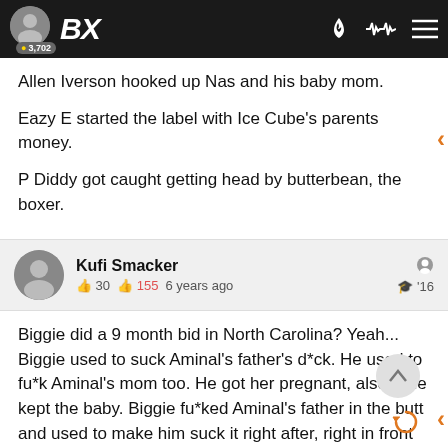BX | 3,702
Allen Iverson hooked up Nas and his baby mom.
Eazy E started the label with Ice Cube's parents money.
P Diddy got caught getting head by butterbean, the boxer.
Kufi Smacker | 30 | 155 | 6 years ago | '16
Biggie did a 9 month bid in North Carolina? Yeah... Biggie used to suck Aminal's father's d*ck. He used to fu*k Aminal's mom too. He got her pregnant, also. She kept the baby. Biggie fu*ked Aminal's father in the butt and used to make him suck it right after, right in front